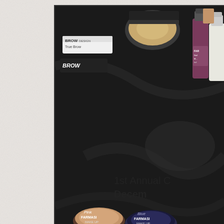[Figure (photo): Photo of various Farmasi makeup products arranged on a dark black surface, including brow design boxes, eyeshadow pots labeled Pink and Blue Farmasi Make Up, nail polish bottles (purple and white), and a round compact powder. The items are spread across a shiny dark tablecloth.]
1st Annual C
Decem